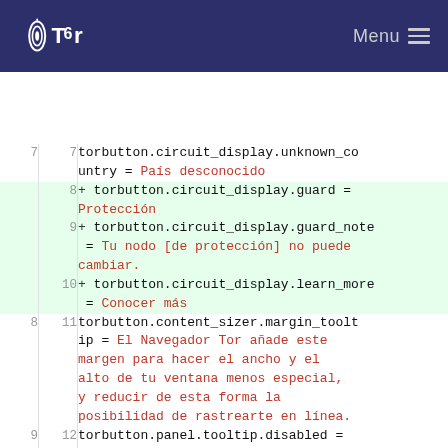Tor Menu
| old | new | code |
| --- | --- | --- |
| 7 | 7 | torbutton.circuit_display.unknown_country = País desconocido |
|  | 8 | + torbutton.circuit_display.guard = Protección |
|  | 9 | + torbutton.circuit_display.guard_note = Tu nodo [de protección] no puede cambiar. |
|  | 10 | + torbutton.circuit_display.learn_more = Conocer más |
| 8 | 11 | torbutton.content_sizer.margin_tooltip = El Navegador Tor añade este margen para hacer el ancho y el alto de tu ventana menos especial, y reducir de esta forma la posibilidad de rastrearte en línea. |
| 9 | 12 | torbutton.panel.tooltip.disabled = Haga clic para habilitar Tor |
| 10 | 13 | torbutton.panel.tooltip.enabled = Haga clic para deshabilitar Tor |
| ... | ... |  |